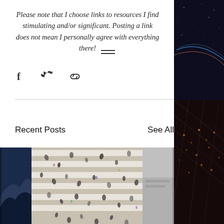Please note that I choose links to resources I find stimulating and/or significant. Posting a link does not mean I personally agree with everything there!
[Figure (other): Social share icons: Facebook, Twitter, and link/chain icon]
Recent Posts
See All
[Figure (photo): Aerial view of a crowd of people crossing a busy zebra crossing/intersection, top-down perspective]
[Figure (photo): Partial view of a dark blue mountainous landscape photo (left edge)]
[Figure (photo): Partial view of a gray/concrete textured photo (right edge)]
[Figure (photo): Right side background: aerial night city lights with glowing network grid lines overlay on dark space/city background]